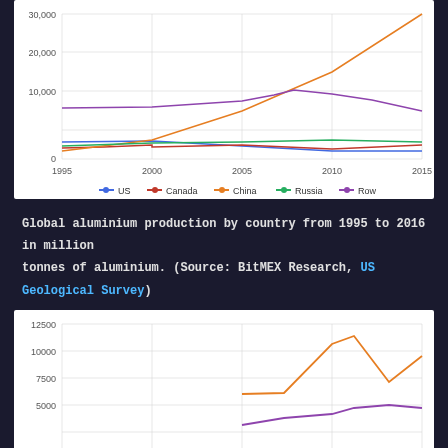[Figure (line-chart): Global aluminium production by country 1993-2016]
Global aluminium production by country from 1995 to 2016 in million tonnes of aluminium. (Source: BitMEX Research, US Geological Survey)
[Figure (line-chart): Global aluminium production detail]